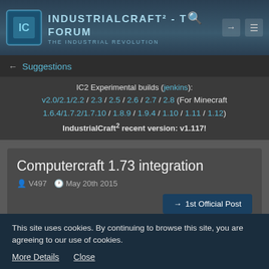IndustrialCraft² - The IC2 Forum - The Industrial Revolution
← Suggestions
IC2 Experimental builds (jenkins): v2.0/2.1/2.2 / 2.3 / 2.5 / 2.6 / 2.7 / 2.8 (For Minecraft 1.6.4/1.7.2/1.7.10 / 1.8.9 / 1.9.4 / 1.10 / 1.11 / 1.12)
IndustrialCraft² recent version: v1.117!
Computercraft 1.73 integration
V497  May 20th 2015
→ 1st Official Post
V497
This site uses cookies. By continuing to browse this site, you are agreeing to our use of cookies.
More Details   Close